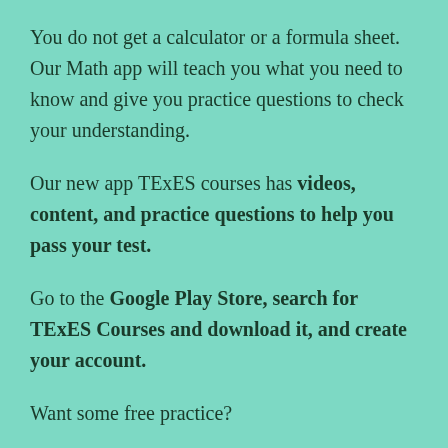You do not get a calculator or a formula sheet. Our Math app will teach you what you need to know and give you practice questions to check your understanding.
Our new app TExES courses has videos, content, and practice questions to help you pass your test.
Go to the Google Play Store, search for TExES Courses and download it, and create your account.
Want some free practice?